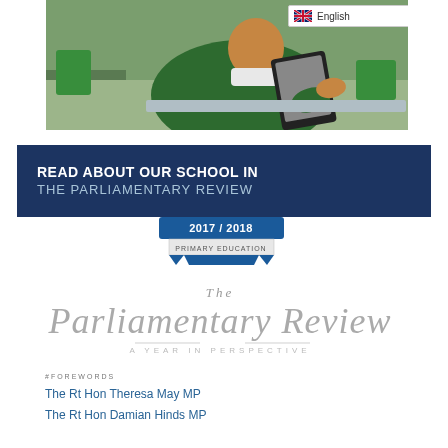[Figure (photo): Child in green school uniform holding a tablet device, seated at a desk. Language selector with English flag visible in top right corner.]
READ ABOUT OUR SCHOOL IN THE PARLIAMENTARY REVIEW
[Figure (logo): Badge/seal reading '2017/2018 PRIMARY EDUCATION' in blue ribbon design]
[Figure (logo): The Parliamentary Review - A Year In Perspective logo in elegant script]
#FOREWORDS
The Rt Hon Theresa May MP
The Rt Hon Damian Hinds MP